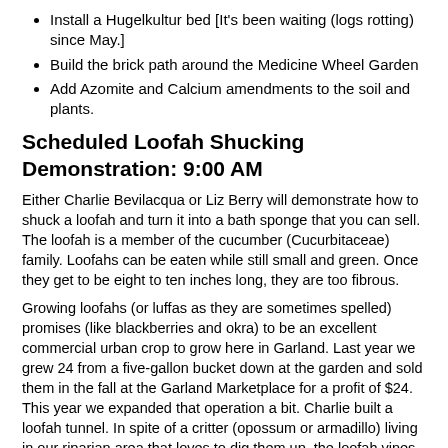Install a Hugelkultur bed [It's been waiting (logs rotting) since May.]
Build the brick path around the Medicine Wheel Garden
Add Azomite and Calcium amendments to the soil and plants.
Scheduled Loofah Shucking Demonstration:  9:00 AM
Either Charlie Bevilacqua or Liz Berry will demonstrate how to shuck a loofah and turn it into a bath sponge that you can sell.  The loofah is a member of the cucumber (Cucurbitaceae) family.  Loofahs can be eaten while still small and green.  Once they get to be eight to ten inches long, they are too fibrous.
Growing loofahs (or luffas as they are sometimes spelled) promises (like blackberries and okra) to be an excellent commercial urban crop to grow here in Garland.  Last year we grew 24 from a five-gallon bucket down at the garden and sold them in the fall at the Garland Marketplace for a profit of $24.  This year we expanded that operation a bit.  Charlie built a loofah tunnel. In spite of a critter (opossum or armadillo) living in our riparian area that loves to dig them up, the loofah vines have survived and are now producing loofahs.